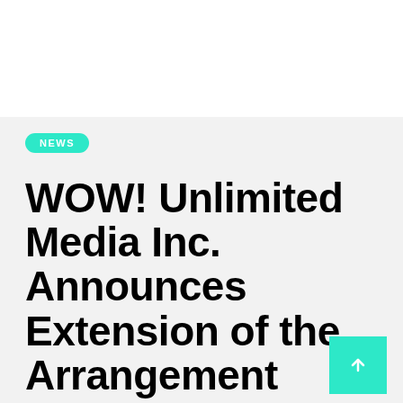NEWS
WOW! Unlimited Media Inc. Announces Extension of the Arrangement Agreement Outside Date and General Update on the Transaction